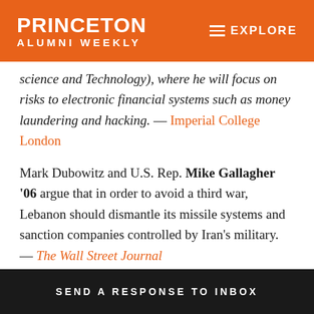PRINCETON ALUMNI WEEKLY | EXPLORE
science and Technology), where he will focus on risks to electronic financial systems such as money laundering and hacking. — Imperial College London
Mark Dubowitz and U.S. Rep. Mike Gallagher '06 argue that in order to avoid a third war, Lebanon should dismantle its missile systems and sanction companies controlled by Iran's military. — The Wall Street Journal
Goldman Sachs Managing Director Arthur Miller '73 will serve as the vice chair of the Municipal Securities Rulemaking Board, which establishes regulatory policies
SEND A RESPONSE TO INBOX